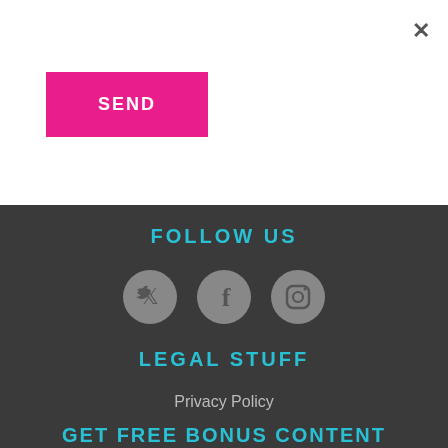×
SEND
FOLLOW US
[Figure (illustration): Three circular social media icons: Twitter bird, Facebook f, Instagram camera]
LEGAL STUFF
Privacy Policy
GET FREE BONUS CONTENT
Newsletter
COPYRIGHT © 2019 - 2022. DESIGN BY SCISTORIES LLC CREATIVE NEXT IS LICENSED UNDER A CREATIVE COMMONS ATTRIBUTION 4.0 INTERNATIONAL LICENSE.